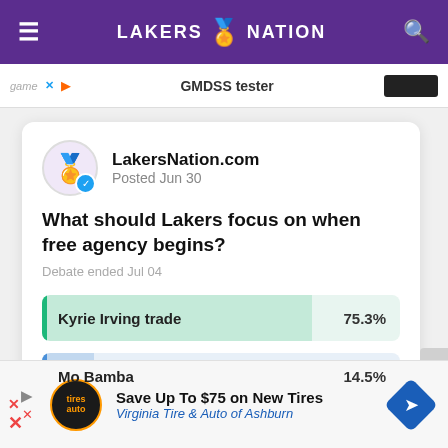LAKERS NATION
[Figure (screenshot): Advertisement bar showing 'GMDSS tester' with game logo and dark button]
[Figure (screenshot): LakersNation.com poll card. Posted Jun 30. Question: What should Lakers focus on when free agency begins? Debate ended Jul 04. Options: Kyrie Irving trade 75.3%, Mo Bamba 14.5%]
[Figure (screenshot): Advertisement: Save Up To $75 on New Tires - Virginia Tire & Auto of Ashburn, with Tires Plus auto logo and blue arrow navigation icon]